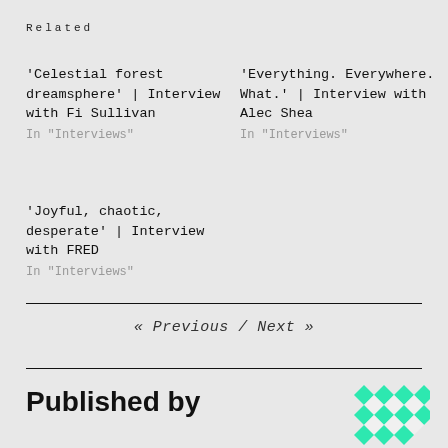Related
'Celestial forest dreamsphere' | Interview with Fi Sullivan
In "Interviews"
'Everything. Everywhere. What.' | Interview with Alec Shea
In "Interviews"
'Joyful, chaotic, desperate' | Interview with FRED
In "Interviews"
« Previous  /  Next »
Published by